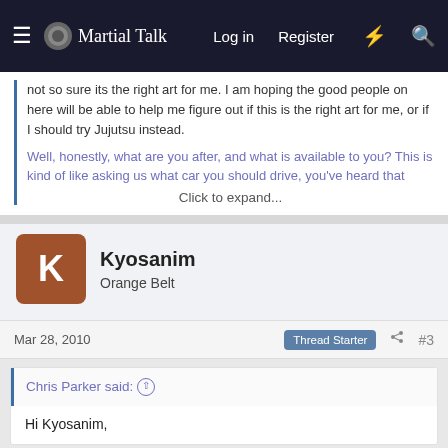Martial Talk — Log in   Register
not so sure its the right art for me. I am hoping the good people on here will be able to help me figure out if this is the right art for me, or if I should try Jujutsu instead.
Well, honestly, what are you after, and what is available to you? This is kind of like asking us what car you should drive, you've heard that
Click to expand...
Kyosanim
Orange Belt
Mar 28, 2010
Thread Starter
#3
Chris Parker said:
Hi Kyosanim,